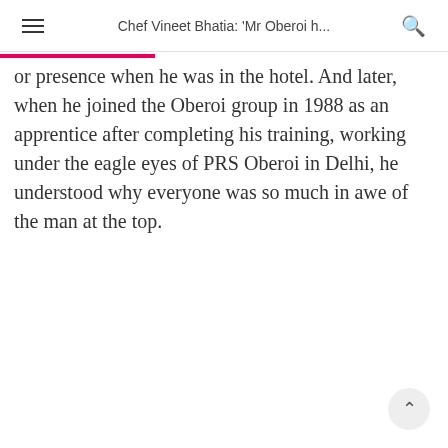Chef Vineet Bhatia: 'Mr Oberoi h...
or presence when he was in the hotel. And later, when he joined the Oberoi group in 1988 as an apprentice after completing his training, working under the eagle eyes of PRS Oberoi in Delhi, he understood why everyone was so much in awe of the man at the top.